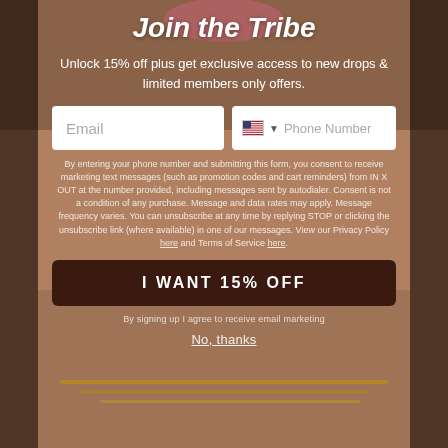[Figure (photo): Background photo of a woman wearing gold jewelry and necklaces, with warm brown skin tones. The image shows her neck/chin area and layered gold chains and an Eye of Horus pendant.]
Join the Tribe
Unlock 15% off plus get exclusive access to new drops & limited members only offers.
Email
Phone Number
By entering your phone number and submitting this form, you consent to receive marketing text messages (such as promotion codes and cart reminders) from IN X OUT at the number provided, including messages sent by autodialer. Consent is not a condition of any purchase. Message and data rates may apply. Message frequency varies. You can unsubscribe at any time by replying STOP or clicking the unsubscribe link (where available) in one of our messages. View our Privacy Policy here and Terms of Service here.
I WANT 15% OFF
By signing up I agree to receive email marketing
No, thanks